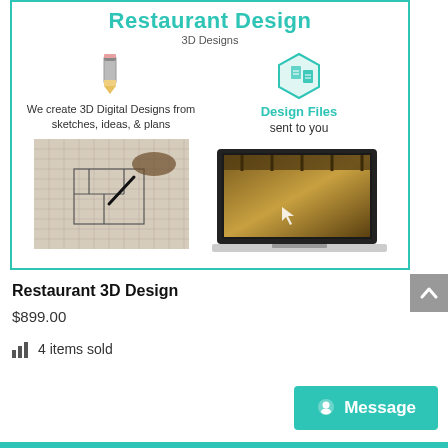Restaurant Design
3D Designs
We create 3D Digital Designs from sketches, ideas, & plans
[Figure (illustration): Pencil icon above text about 3D digital designs]
[Figure (photo): Hand drawing architectural sketch on graph paper]
[Figure (illustration): Hexagonal design files icon with file symbols]
Design Files sent to you
[Figure (photo): Laptop displaying a 3D restaurant interior render]
Restaurant 3D Design
$899.00
4 items sold
Message